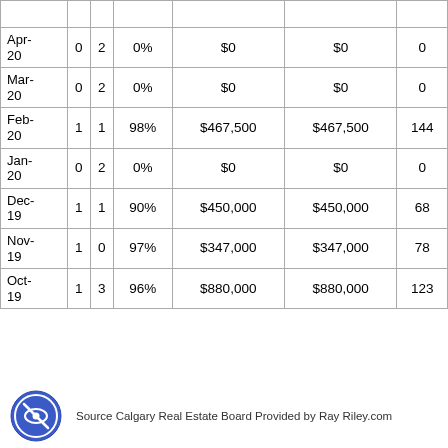| Month | Sold | Active | S/L Ratio | Avg Price | Median Price | Avg DOM |
| --- | --- | --- | --- | --- | --- | --- |
| Apr-20 | 0 | 2 | 0% | $0 | $0 | 0 |
| Mar-20 | 0 | 2 | 0% | $0 | $0 | 0 |
| Feb-20 | 1 | 1 | 98% | $467,500 | $467,500 | 144 |
| Jan-20 | 0 | 2 | 0% | $0 | $0 | 0 |
| Dec-19 | 1 | 1 | 90% | $450,000 | $450,000 | 68 |
| Nov-19 | 1 | 0 | 97% | $347,000 | $347,000 | 78 |
| Oct-19 | 1 | 3 | 96% | $880,000 | $880,000 | 123 |
Source Calgary Real Estate Board Provided by Ray Riley.com